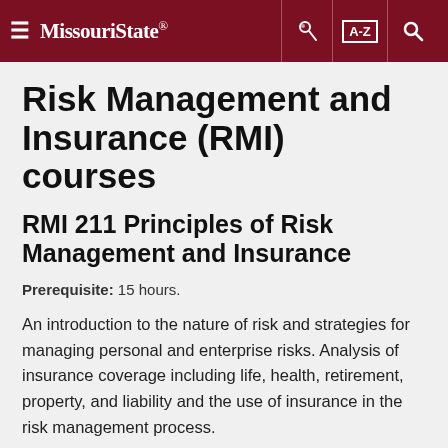≡ Missouri State. [key icon] [A-Z] [search icon]
Risk Management and Insurance (RMI) courses
RMI 211 Principles of Risk Management and Insurance
Prerequisite: 15 hours.
An introduction to the nature of risk and strategies for managing personal and enterprise risks. Analysis of insurance coverage including life, health, retirement, property, and liability and the use of insurance in the risk management process.
| Credit hours |
| --- |